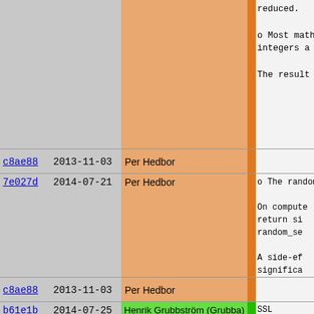| hash | date | author | message |
| --- | --- | --- | --- |
| c8ae88 | 2013-11-03 | Per Hedbor |  |
| 7e027d | 2014-07-21 | Per Hedbor | o The random

On compute
return si
random_se

A side-ef
significa

Note: If y
Crypto.Ra
returned |
| c8ae88 | 2013-11-03 | Per Hedbor |  |
| b61e1b | 2014-07-25 | Henrik Grubbström (Grubba) | SSL
---

o SSL now s

o Several i |